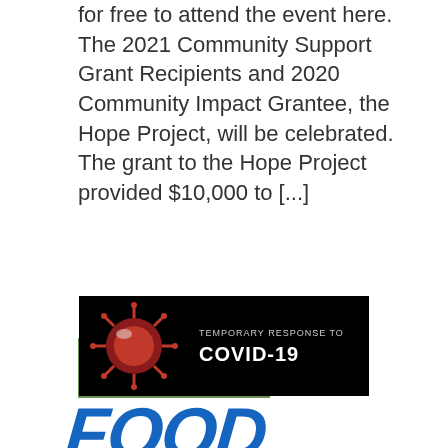for free to attend the event here. The 2021 Community Support Grant Recipients and 2020 Community Impact Grantee, the Hope Project, will be celebrated. The grant to the Hope Project provided $10,000 to [...]
Read More
[Figure (infographic): Black banner image with a COVID-19 virus illustration on the left side and text reading 'TEMPORARY RESPONSE TO COVID-19' on the right]
[Figure (illustration): Large blue handwritten-style text spelling 'FOOD']